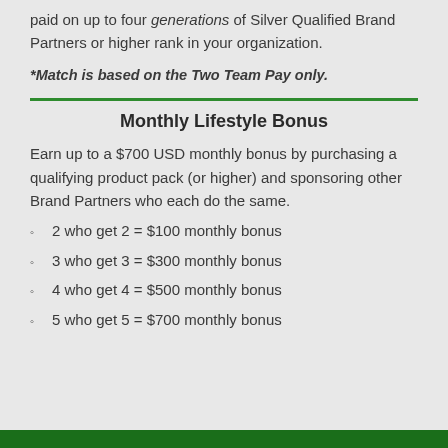paid on up to four generations of Silver Qualified Brand Partners or higher rank in your organization.
*Match is based on the Two Team Pay only.
Monthly Lifestyle Bonus
Earn up to a $700 USD monthly bonus by purchasing a qualifying product pack (or higher) and sponsoring other Brand Partners who each do the same.
2 who get 2 = $100 monthly bonus
3 who get 3 = $300 monthly bonus
4 who get 4 = $500 monthly bonus
5 who get 5 = $700 monthly bonus